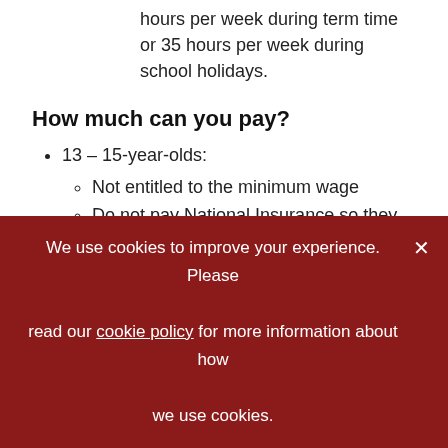hours per week during term time or 35 hours per week during school holidays.
How much can you pay?
13 – 15-year-olds:
Not entitled to the minimum wage
Do not pay National Insurance so they only need to be included on your payroll if their total income is over their personal allowance
We use cookies to improve your experience. Please read our cookie policy for more information about how we use cookies.